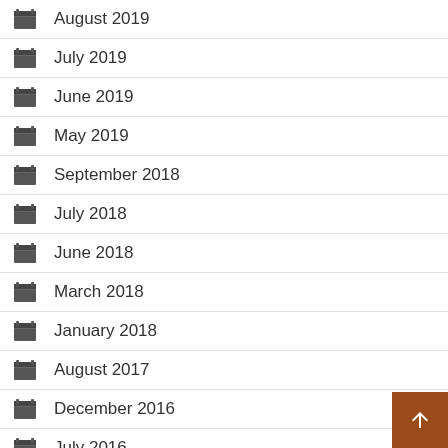August 2019
July 2019
June 2019
May 2019
September 2018
July 2018
June 2018
March 2018
January 2018
August 2017
December 2016
July 2016
April 2016